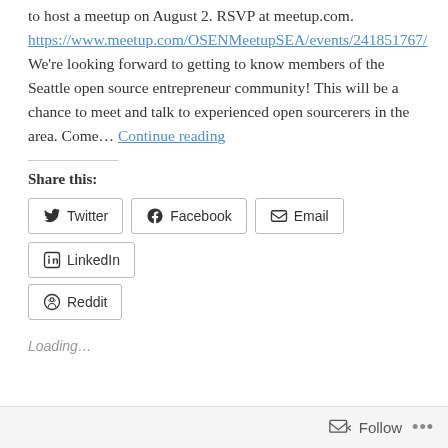to host a meetup on August 2. RSVP at meetup.com. https://www.meetup.com/OSENMeetupSEA/events/241851767/ We're looking forward to getting to know members of the Seattle open source entrepreneur community! This will be a chance to meet and talk to experienced open sourcerers in the area. Come... Continue reading
Share this:
Twitter  Facebook  Email  LinkedIn  Reddit
Loading...
Tagged meetup   Leave a comment
Follow ...